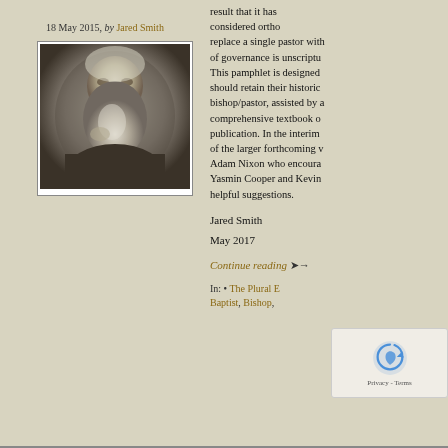18 May 2015, by Jared Smith
[Figure (photo): Black and white portrait of an elderly bearded man, sketch or charcoal style]
result that it has considered ortho replace a single pastor with of governance is unscriptu This pamphlet is designed should retain their historic bishop/pastor, assisted by a comprehensive textbook o publication. In the interim of the larger forthcoming v Adam Nixon who encoura Yasmin Cooper and Kevin helpful suggestions.
Jared Smith
May 2017
Continue reading ➝
In: • The Plural E Baptist, Bishop,